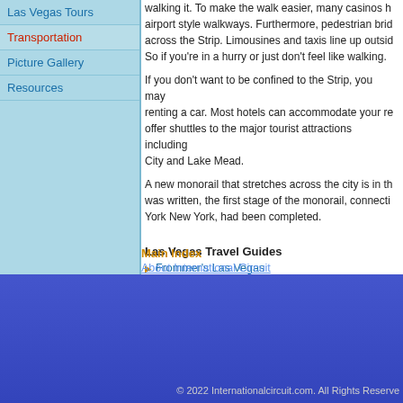Las Vegas Tours
Transportation
Picture Gallery
Resources
walking it. To make the walk easier, many casinos h... airport style walkways. Furthermore, pedestrian brid... across the Strip. Limousines and taxis line up outsid... So if you're in a hurry or just don't feel like walking.
If you don't want to be confined to the Strip, you may... renting a car. Most hotels can accommodate your re... offer shuttles to the major tourist attractions including City and Lake Mead.
A new monorail that stretches across the city is in th... was written, the first stage of the monorail, connecti... York New York, had been completed.
Las Vegas Travel Guides
Frommer's Las Vegas
Lonely Planet Las Vegas
Let's Go Las Vegas
Fodors Las Vegas
Main Index
About International Circuit
© 2022 Internationalcircuit.com. All Rights Reserve...